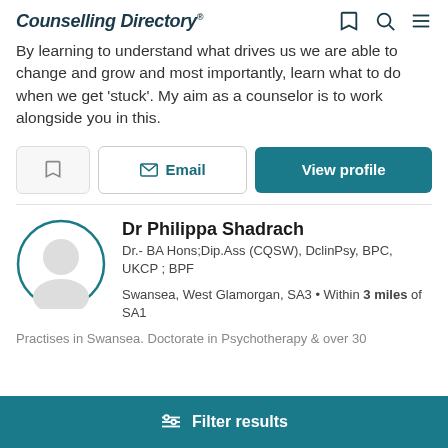Counselling Directory
By learning to understand what drives us we are able to change and grow and most importantly, learn what to do when we get 'stuck'. My aim as a counselor is to work alongside you in this.
Dr Philippa Shadrach
Dr.- BA Hons;Dip.Ass (CQSW), DclinPsy, BPC, UKCP ; BPF
Swansea, West Glamorgan, SA3 • Within 3 miles of SA1
Practises in Swansea. Doctorate in Psychotherapy & over 30